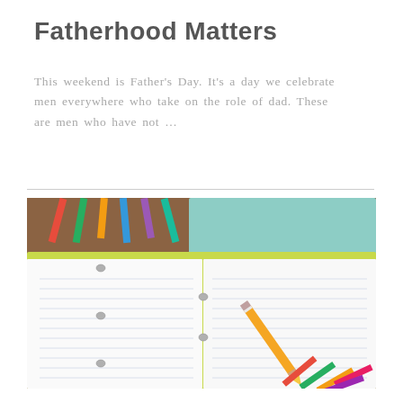Fatherhood Matters
This weekend is Father's Day. It's a day we celebrate men everywhere who take on the role of dad. These are men who have not …
[Figure (photo): Open ring-bound notebook with lined white pages, a yellow pencil resting on the right page, surrounded by colorful pencils and a teal notebook on a wooden surface.]